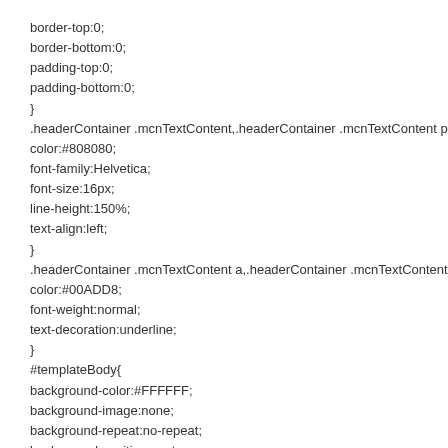border-top:0;
border-bottom:0;
padding-top:0;
padding-bottom:0;
}
.headerContainer .mcnTextContent,.headerContainer .mcnTextContent p{
color:#808080;
font-family:Helvetica;
font-size:16px;
line-height:150%;
text-align:left;
}
.headerContainer .mcnTextContent a,.headerContainer .mcnTextContent p a{
color:#00ADD8;
font-weight:normal;
text-decoration:underline;
}
#templateBody{
background-color:#FFFFFF;
background-image:none;
background-repeat:no-repeat;
background-position:center;
background-size:cover;
border-top:0;
border-bottom:0;